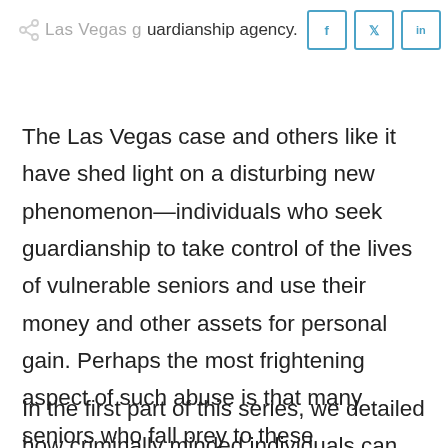Las Vegas guardianship agency.
The Las Vegas case and others like it have shed light on a disturbing new phenomenon—individuals who seek guardianship to take control of the lives of vulnerable seniors and use their money and other assets for personal gain. Perhaps the most frightening aspect of such abuse is that many seniors who fall prey to these unscrupulous guardians have loving and caring family members who are unable to protect them.
In the first part of this series, we detailed how criminally minded individuals can take